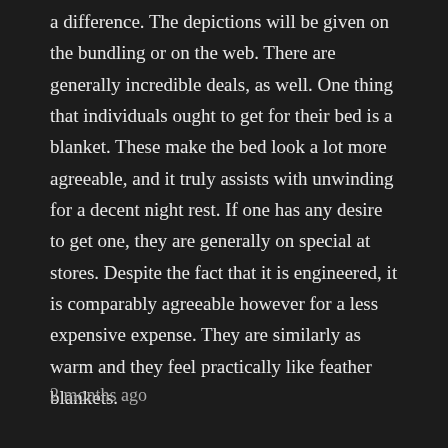a difference. The depictions will be given on the bundling or on the web. There are generally incredible deals, as well. One thing that individuals ought to get for their bed is a blanket. These make the bed look a lot more agreeable, and it truly assists with unwinding for a decent night rest. If one has any desire to get one, they are generally on special at stores. Despite the fact that it is engineered, it is comparably agreeable however for a less expensive expense. They are similarly as warm and they feel practically like feather blankets.
2 months ago